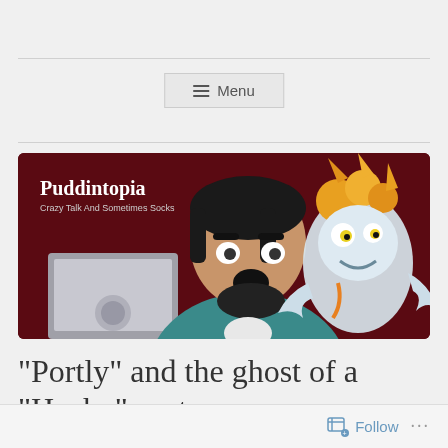Menu
[Figure (illustration): Puddintopia blog banner showing a cartoon man with dark hair and beard looking shocked at a laptop, with an animated wild-looking creature with orange hair beside him. Dark maroon background. Text reads 'Puddintopia' and 'Crazy Talk And Sometimes Socks'.]
“Portly” and the ghost of a “Husky” past
Follow